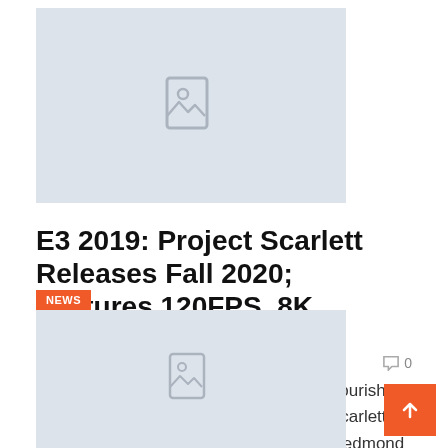[Figure (illustration): Image placeholder with a document/photo icon on a light grey background]
E3 2019: Project Scarlett Releases Fall 2020; Features 120FPS, 8K Graphics & More
Faheem Hayd...   Jun 10, 2019   💬 0
To close its E3 2019 conference with a flourish, Microsoft decided to talk about Project Scarlett, its next-generation console. There, the Redmond giant gave us its first details, as the kind of experiences the console can offer. It is a…
NEWS
[Figure (illustration): Second image placeholder with a document/photo icon on a light grey background]